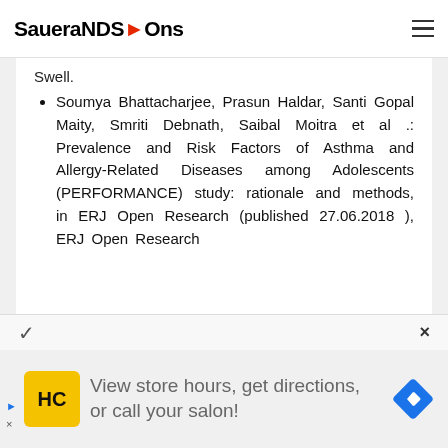SaueraNDS→Ons
Swell.
Soumya Bhattacharjee, Prasun Haldar, Santi Gopal Maity, Smriti Debnath, Saibal Moitra et al .: Prevalence and Risk Factors of Asthma and Allergy-Related Diseases among Adolescents (PERFORMANCE) study: rationale and methods, in ERJ Open Research (published 27.06.2018 ), ERJ Open Research
[Figure (screenshot): Advertisement banner: HC salon logo, text 'View store hours, get directions, or call your salon!' with navigation icon]